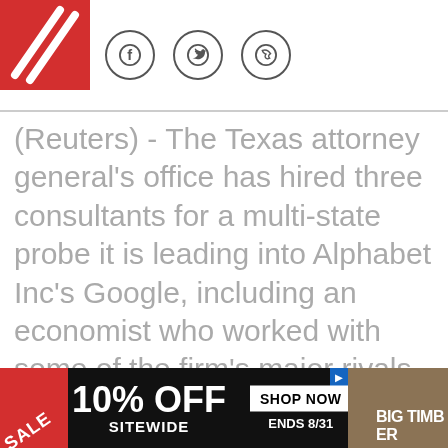Social sharing icons: Facebook, Twitter, Phone/WhatsApp
(Reuters) - The Texas attorney general's office has hired three consultants for a multi-state probe it is leading into Alphabet Inc's Google, including an economist who worked with some of the firm's major rivals and a lawyer who is a Microsoft veteran. A group of 48 state attorneys general, joined by Washington, D.C. and Puerto Rico, announced this month that they were investigating accusations of antitrust violations by search and
[Figure (other): Advertisement banner: SALE 10% OFF SITEWIDE, SHOP NOW, ENDS 8/31, BIG TIMB(ER)]